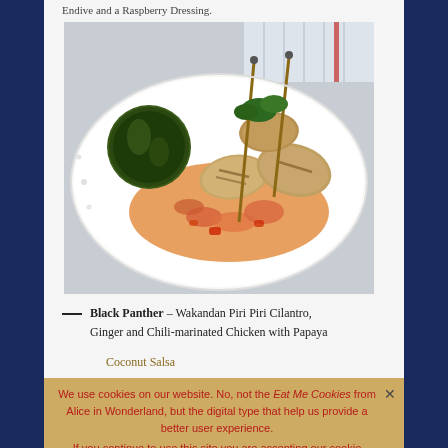Endive and a Raspberry Dressing.
[Figure (photo): A white oval plate with grilled chicken skewers on a bed of papaya salsa, garnished with a charred lime half and fresh herbs]
— Black Panther – Wakandan Piri Piri Cilantro, Ginger and Chili-marinated Chicken with Papaya Coconut Salsa
We use cookies on our website. No, not the Eat Me Cookies from Alice in Wonderland, but the digital type that help us provide a better user experience.

If you continue to use this site you are accepting our cookie policy.

Accept   Read more